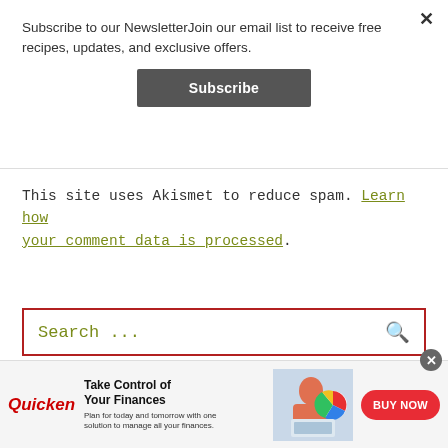Subscribe to our NewsletterJoin our email list to receive free recipes, updates, and exclusive offers.
Subscribe
This site uses Akismet to reduce spam. Learn how your comment data is processed.
Search ...
[Figure (screenshot): Advertisement banner for Quicken: 'Take Control of Your Finances. Plan for today and tomorrow with one solution to manage all your finances.' with a BUY NOW button.]